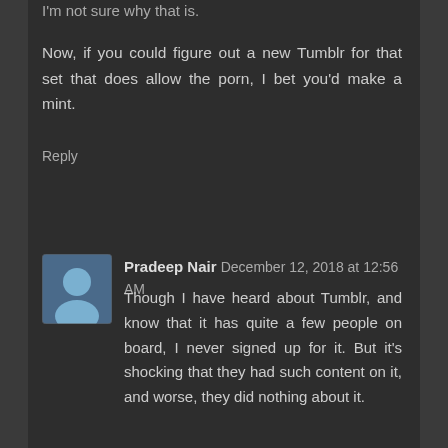I'm not sure why that is.
Now, if you could figure out a new Tumblr for that set that does allow the porn, I bet you'd make a mint.
Reply
Pradeep Nair  December 12, 2018 at 12:56 AM
Though I have heard about Tumblr, and know that it has quite a few people on board, I never signed up for it. But it's shocking that they had such content on it, and worse, they did nothing about it.
Reply
Enter Comment
Please validate me.